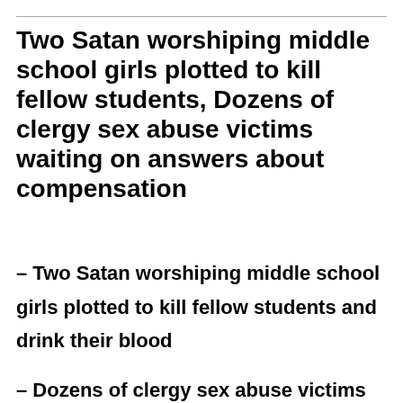Two Satan worshiping middle school girls plotted to kill fellow students, Dozens of clergy sex abuse victims waiting on answers about compensation
– Two Satan worshiping middle school girls plotted to kill fellow students and drink their blood
– Dozens of clergy sex abuse victims